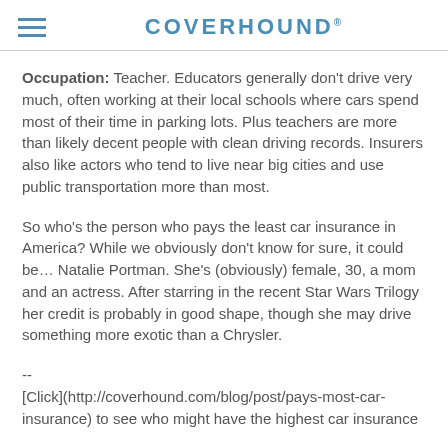COVERHOUND
Occupation: Teacher. Educators generally don't drive very much, often working at their local schools where cars spend most of their time in parking lots. Plus teachers are more than likely decent people with clean driving records. Insurers also like actors who tend to live near big cities and use public transportation more than most.
So who's the person who pays the least car insurance in America? While we obviously don't know for sure, it could be… Natalie Portman. She's (obviously) female, 30, a mom and an actress. After starring in the recent Star Wars Trilogy her credit is probably in good shape, though she may drive something more exotic than a Chrysler.
--
[Click](http://coverhound.com/blog/post/pays-most-car-insurance) to see who might have the highest car insurance